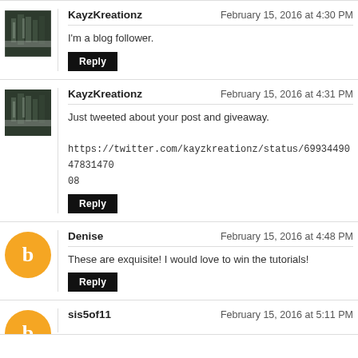KayzKreationz — February 15, 2016 at 4:30 PM — I'm a blog follower. [Reply]
KayzKreationz — February 15, 2016 at 4:31 PM — Just tweeted about your post and giveaway. https://twitter.com/kayzkreationz/status/699344904783147008 [Reply]
Denise — February 15, 2016 at 4:48 PM — These are exquisite! I would love to win the tutorials! [Reply]
sis5of11 — February 15, 2016 at 5:11 PM